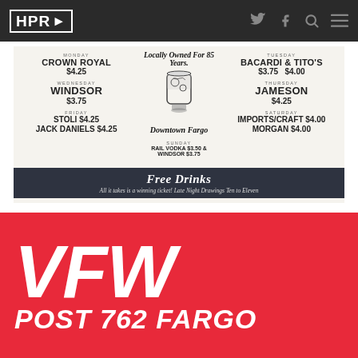HPR
[Figure (infographic): VFW Post 762 Fargo bar drink specials advertisement. Locally Owned For 85 Years. Monday: Crown Royal $4.25. Tuesday: Bacardi & Tito's $3.75 $4.00. Wednesday: Windsor $3.75. Thursday: Jameson $4.25. Friday: Stoli $4.25, Jack Daniels $4.25. Saturday: Imports/Craft $4.00, Morgan $4.00. Sunday: Rail Vodka $3.50 & Windsor $3.75. Free Drinks - All it takes is a winning ticket! Late Night Drawings Ten to Eleven. Downtown Fargo.]
[Figure (infographic): VFW Post 762 Fargo advertisement with large white italic text on red background reading VFW POST 762 FARGO]